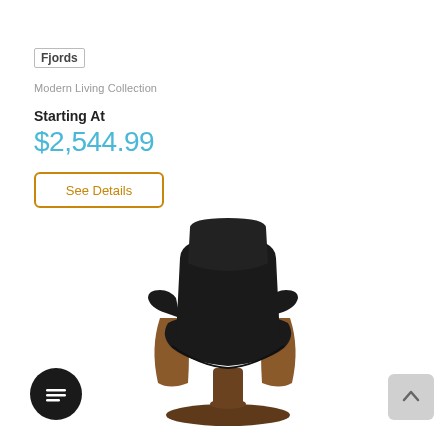Fjords
Modern Living Collection
Starting At
$2,544.99
See Details
[Figure (photo): Black leather recliner chair with walnut wood base and armrests on a round swivel pedestal base, shown from a front-side angle.]